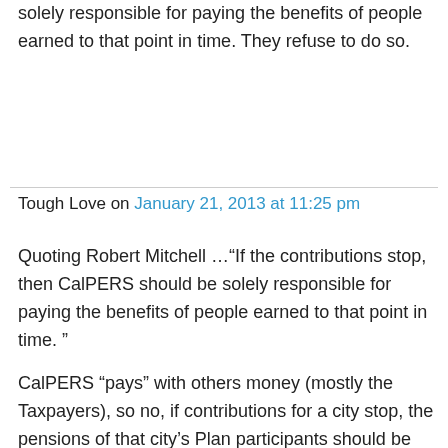solely responsible for paying the benefits of people earned to that point in time. They refuse to do so.
Tough Love on January 21, 2013 at 11:25 pm
Quoting Robert Mitchell …“If the contributions stop, then CalPERS should be solely responsible for paying the benefits of people earned to that point in time. ”
CalPERS “pays” with others money (mostly the Taxpayers), so no, if contributions for a city stop, the pensions of that city’s Plan participants should be paid for ONLY from exiting Plan assets (and future earning on those assets) from THAT city.